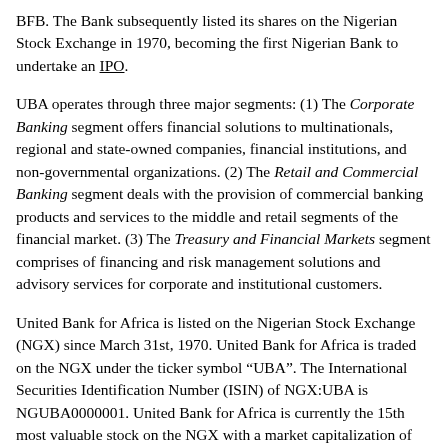BFB. The Bank subsequently listed its shares on the Nigerian Stock Exchange in 1970, becoming the first Nigerian Bank to undertake an IPO.
UBA operates through three major segments: (1) The Corporate Banking segment offers financial solutions to multinationals, regional and state-owned companies, financial institutions, and non-governmental organizations. (2) The Retail and Commercial Banking segment deals with the provision of commercial banking products and services to the middle and retail segments of the financial market. (3) The Treasury and Financial Markets segment comprises of financing and risk management solutions and advisory services for corporate and institutional customers.
United Bank for Africa is listed on the Nigerian Stock Exchange (NGX) since March 31st, 1970. United Bank for Africa is traded on the NGX under the ticker symbol "UBA". The International Securities Identification Number (ISIN) of NGX:UBA is NGUBA0000001. United Bank for Africa is currently the 15th most valuable stock on the NGX with a market capitalization of NGN 243 billion, which is about 0.912% of the Nigerian Stock Exchange equity market.